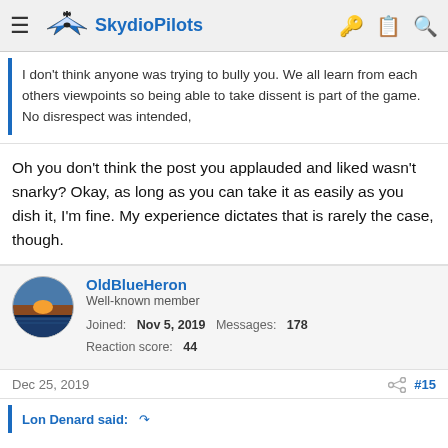SkydioPilots
I don't think anyone was trying to bully you. We all learn from each others viewpoints so being able to take dissent is part of the game. No disrespect was intended,
Oh you don't think the post you applauded and liked wasn't snarky? Okay, as long as you can take it as easily as you dish it, I'm fine. My experience dictates that is rarely the case, though.
OldBlueHeron
Well-known member
Joined: Nov 5, 2019  Messages: 178
Reaction score: 44
Dec 25, 2019  #15
Lon Denard said: